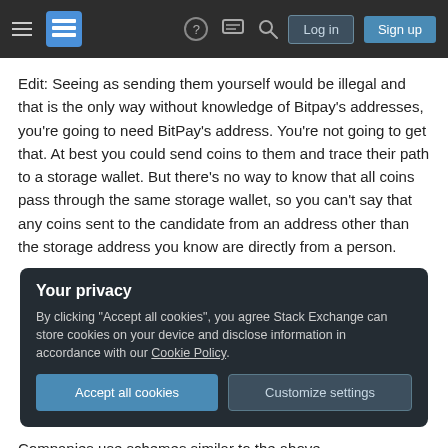Stack Exchange navigation bar with hamburger menu, logo, help, chat, search icons, Log in and Sign up buttons
Edit: Seeing as sending them yourself would be illegal and that is the only way without knowledge of Bitpay's addresses, you're going to need BitPay's address. You're not going to get that. At best you could send coins to them and trace their path to a storage wallet. But there's no way to know that all coins pass through the same storage wallet, so you can't say that any coins sent to the candidate from an address other than the storage address you know are directly from a person.
Your privacy
By clicking "Accept all cookies", you agree Stack Exchange can store cookies on your device and disclose information in accordance with our Cookie Policy.
Companies use schemes similar to the above